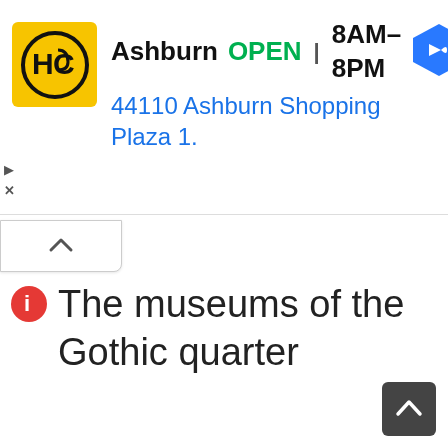[Figure (screenshot): Ad banner with HC logo (yellow background, black HC letters in circle), store name Ashburn, OPEN status in green, hours 8AM-8PM, address 44110 Ashburn Shopping Plaza 1., and blue navigation arrow icon on right]
[Figure (other): Collapse/up-chevron button tab below the ad banner]
The museums of the Gothic quarter
[Figure (other): Dark gray scroll-to-top button with white up chevron in bottom right corner]